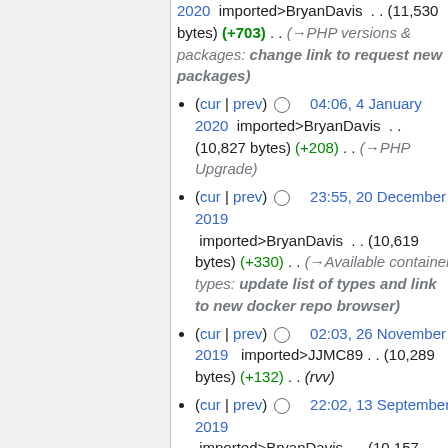2020  imported>BryanDavis . . (11,530 bytes) (+703) . . (→PHP versions & packages: change link to request new packages)
(cur | prev)  04:06, 4 January 2020  imported>BryanDavis . . (10,827 bytes) (+208) . . (→PHP Upgrade)
(cur | prev)  23:55, 20 December 2019  imported>BryanDavis . . (10,619 bytes) (+330) . . (→Available container types: update list of types and link to new docker repo browser)
(cur | prev)  02:03, 26 November 2019  imported>JJMC89 . . (10,289 bytes) (+132) . . (rvv)
(cur | prev)  22:02, 13 September 2019  imported>BryanDavis . . (10,157